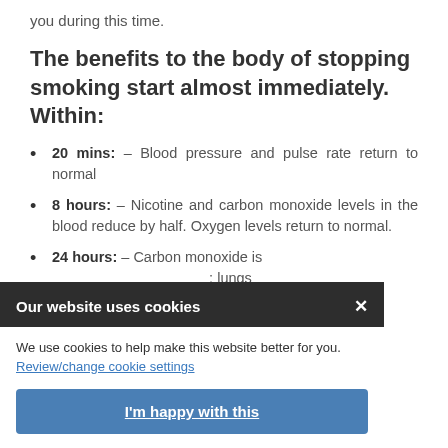you during this time.
The benefits to the body of stopping smoking start almost immediately. Within:
20 mins: – Blood pressure and pulse rate return to normal
8 hours: – Nicotine and carbon monoxide levels in the blood reduce by half. Oxygen levels return to normal.
24 hours: – Carbon monoxide is [partially visible]; lungs [partially visible] and other [partially visible] left the [partially visible] te and [partially visible]
[Figure (screenshot): Cookie consent banner overlay with title 'Our website uses cookies', close button X, body text 'We use cookies to help make this website better for you. Review/change cookie settings' with a link, and a blue 'I'm happy with this' button.]